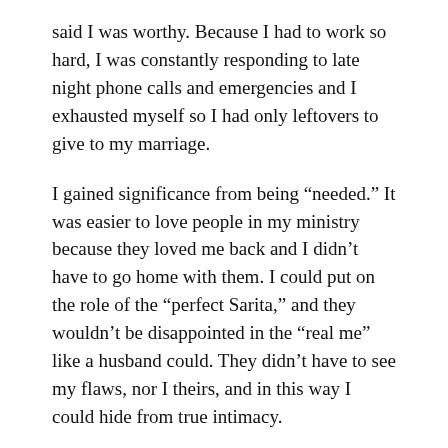said I was worthy. Because I had to work so hard, I was constantly responding to late night phone calls and emergencies and I exhausted myself so I had only leftovers to give to my marriage.
I gained significance from being “needed.” It was easier to love people in my ministry because they loved me back and I didn’t have to go home with them. I could put on the role of the “perfect Sarita,” and they wouldn’t be disappointed in the “real me” like a husband could. They didn’t have to see my flaws, nor I theirs, and in this way I could hide from true intimacy.
At home I felt like a failure, but out there I was a “hero,” and that was a much easier hat to wear. I wanted to be a counselor, a dispenser of wisdom, but I didn’t want to look at myself because that meant having to face the me I didn’t like.